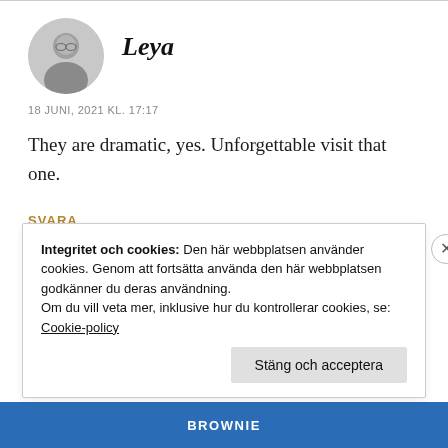[Figure (photo): Circular avatar photo of user Leya, black and white, showing a person's face/head]
Leya
18 JUNI, 2021 KL. 17:17
They are dramatic, yes. Unforgettable visit that one.
SVARA
Integritet och cookies: Den här webbplatsen använder cookies. Genom att fortsätta använda den här webbplatsen godkänner du deras användning.
Om du vill veta mer, inklusive hur du kontrollerar cookies, se: Cookie-policy
Stäng och acceptera